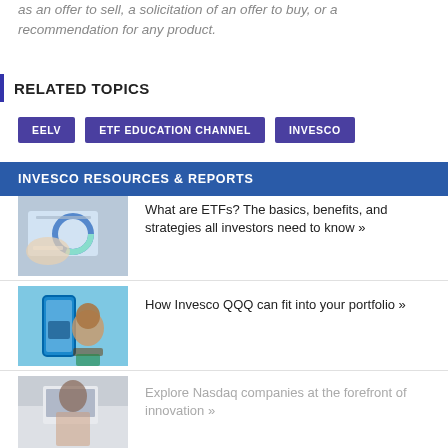as an offer to sell, a solicitation of an offer to buy, or a recommendation for any product.
RELATED TOPICS
EELV
ETF EDUCATION CHANNEL
INVESCO
INVESCO RESOURCES & REPORTS
[Figure (photo): Person pointing at computer screen with charts]
What are ETFs? The basics, benefits, and strategies all investors need to know »
[Figure (photo): Person working near blue 3D printer]
How Invesco QQQ can fit into your portfolio »
[Figure (photo): Person sitting at desk in office from behind]
Explore Nasdaq companies at the forefront of innovation »